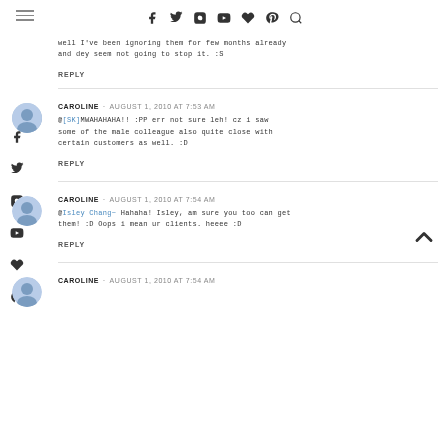Navigation bar with hamburger menu and social icons: Facebook, Twitter, Instagram, YouTube, Heart, Pinterest, Search
well I've been ignoring them for few months already and dey seem not going to stop it. :S
REPLY
CAROLINE · AUGUST 1, 2010 AT 7:53 AM
@[SK]MWAHAHAHA!! :PP err not sure leh! cz i saw some of the male colleague also quite close with certain customers as well. :D
REPLY
CAROLINE · AUGUST 1, 2010 AT 7:54 AM
@Isley Chang~ Hahaha! Isley, am sure you too can get them! :D Oops i mean ur clients. heeee :D
REPLY
CAROLINE · AUGUST 1, 2010 AT 7:54 AM